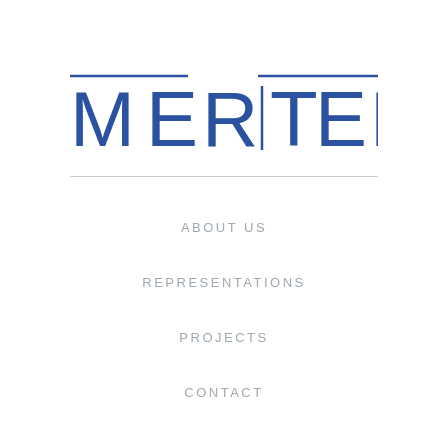[Figure (logo): MERTEKS company logo in blue with horizontal lines above M and S letters, rendered in a geometric sans-serif style]
ABOUT US
REPRESENTATIONS
PROJECTS
CONTACT